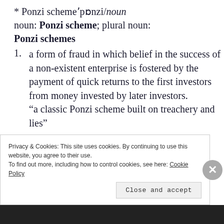* Ponzi schemeˈpɒnzi/noun
noun: Ponzi scheme; plural noun:
Ponzi schemes
1. a form of fraud in which belief in the success of a non-existent enterprise is fostered by the payment of quick returns to the first investors from money invested by later investors. “a classic Ponzi scheme built on treachery and lies”
Privacy & Cookies: This site uses cookies. By continuing to use this website, you agree to their use.
To find out more, including how to control cookies, see here: Cookie Policy
Close and accept